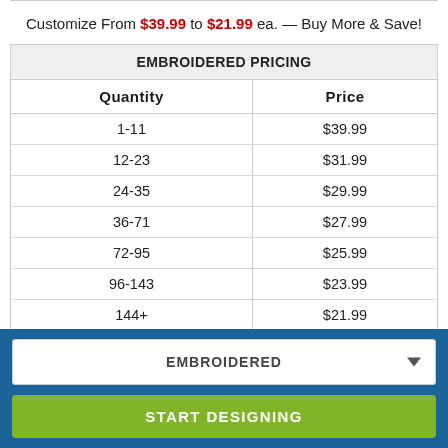Customize From $39.99 to $21.99 ea. — Buy More & Save!
| EMBROIDERED PRICING |
| --- |
| Quantity | Price |
| 1-11 | $39.99 |
| 12-23 | $31.99 |
| 24-35 | $29.99 |
| 36-71 | $27.99 |
| 72-95 | $25.99 |
| 96-143 | $23.99 |
| 144+ | $21.99 |
| More | Call Us |
EMBROIDERED
START DESIGNING